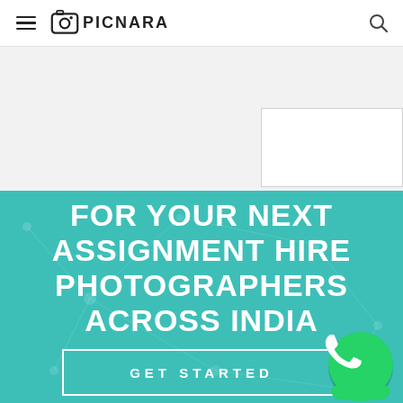PICNARA
[Figure (screenshot): Grey banner area with white rectangle on the right side, representing a partially visible advertisement or image placeholder]
FOR YOUR NEXT ASSIGNMENT HIRE PHOTOGRAPHERS ACROSS INDIA
GET STARTED
[Figure (logo): WhatsApp green circular logo button in the bottom right corner]